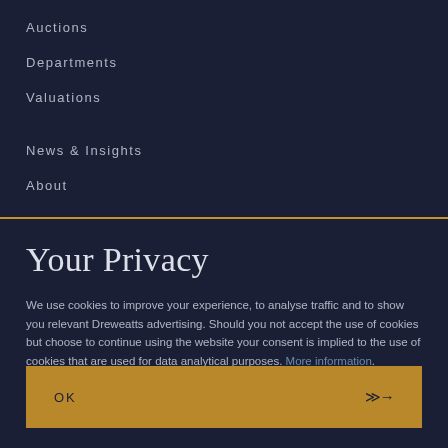Auctions
Departments
Valuations
News & Insights
About
Your Privacy
We use cookies to improve your experience, to analyse traffic and to show you relevant Dreweatts advertising. Should you not accept the use of cookies but choose to continue using the website your consent is implied to the use of cookies that are used for data analytical purposes. More information.
OK